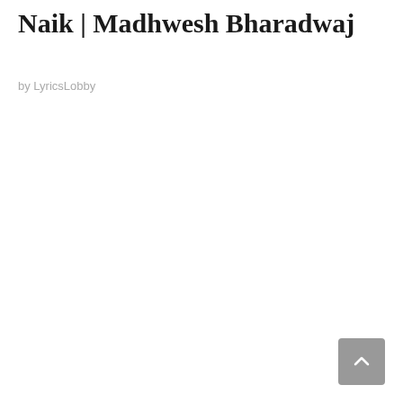Naik | Madhwesh Bharadwaj
by LyricsLobby